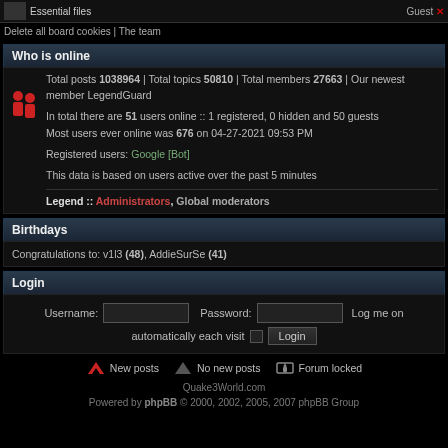Essential files | Guest
Delete all board cookies | The team
Who is online
Total posts 1038964 | Total topics 50810 | Total members 27663 | Our newest member LegendGuard
In total there are 51 users online :: 1 registered, 0 hidden and 50 guests
Most users ever online was 676 on 04-27-2021 09:53 PM
Registered users: Google [Bot]
This data is based on users active over the past 5 minutes
Legend :: Administrators, Global moderators
Birthdays
Congratulations to: v1l3 (48), AddieSurSe (41)
Login
Username: [input] Password: [input] Log me on automatically each visit [checkbox] Login
New posts   No new posts   Forum locked
Quake3World.com
Powered by phpBB © 2000, 2002, 2005, 2007 phpBB Group